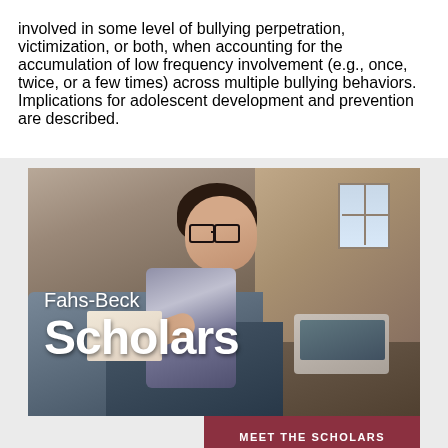involved in some level of bullying perpetration, victimization, or both, when accounting for the accumulation of low frequency involvement (e.g., once, twice, or a few times) across multiple bullying behaviors. Implications for adolescent development and prevention are described.
[Figure (photo): Photo of a young woman with glasses sitting cross-legged on a couch, writing in a notebook with a laptop nearby. Overlaid text reads 'Fahs-Beck Scholars' with a dark red button at bottom reading 'MEET THE SCHOLARS'.]
[Figure (photo): Bottom cropped photo strip showing a person, partially visible.]